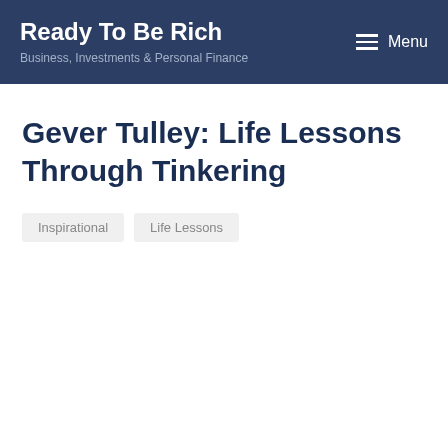Ready To Be Rich
Business, Investments & Personal Finance
Gever Tulley: Life Lessons Through Tinkering
Inspirational
Life Lessons